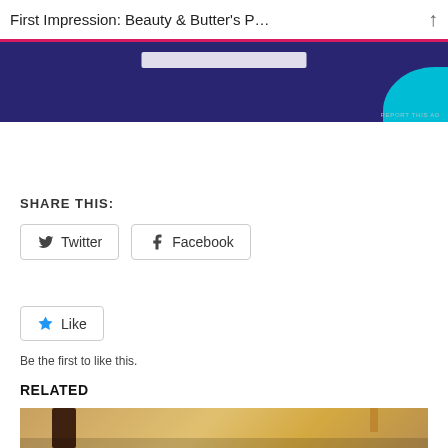First Impression: Beauty & Butter's P…
[Figure (other): Advertisement banner with dark purple background, a white rectangular bar in the center, and a cyan/blue curved shape at the right edge. 'REPORT THIS AD' label at bottom right.]
SHARE THIS:
Twitter  Facebook
Like
Be the first to like this.
RELATED
[Figure (photo): Photo of a cosmetic or beauty product, warm golden/brown tones with a dark cylindrical object.]